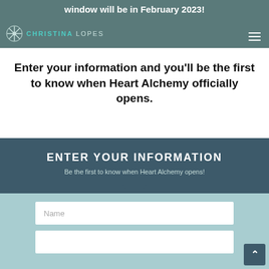window will be in February 2023!
Enter your information and you'll be the first to know when Heart Alchemy officially opens.
ENTER YOUR INFORMATION
Be the first to know when Heart Alchemy opens!
[Figure (screenshot): Web form with Name input field and a second input field below, on a light teal background. A scroll-to-top button is visible in the bottom right.]